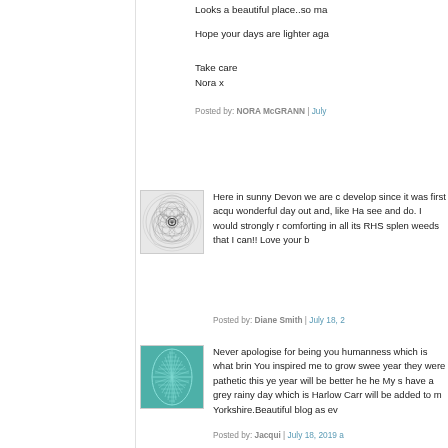Looks a beautiful place..so ma
Hope your days are lighter aga
Take care
Nora x
Posted by: NORA McGRANN | July
[Figure (illustration): Circular geometric spirograph pattern avatar in grey/black tones]
Here in sunny Devon we are c develop since it was first acqu wonderful day out and, like Ha see and do. I would strongly r comforting in all its RHS splen weeds that I can!! Love your b
Posted by: Diane Smith | July 18, 2
[Figure (illustration): Teal/turquoise abstract leaf or feather pattern avatar]
Never apologise for being you humanness which is what brin You inspired me to grow swee year they were pathetic this ye year will be better he he My s have a grey rainy day which is Harlow Carr will be added to m Yorkshire.Beautiful blog as ev
Posted by: Jacqui | July 18, 2019 a